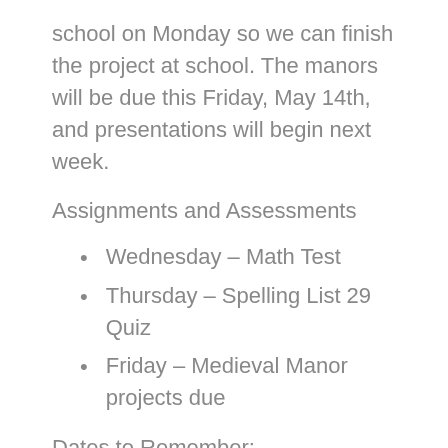school on Monday so we can finish the project at school. The manors will be due this Friday, May 14th, and presentations will begin next week.
Assignments and Assessments
Wednesday – Math Test
Thursday – Spelling List 29 Quiz
Friday – Medieval Manor projects due
Dates to Remember: